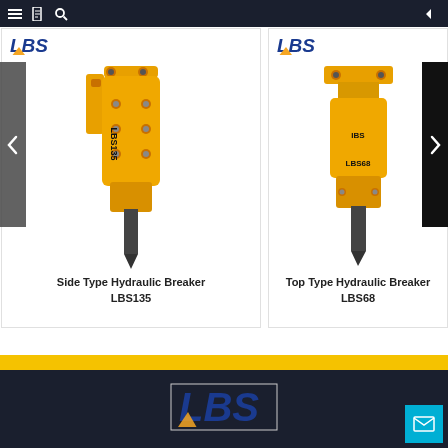[Figure (screenshot): Navigation bar with hamburger menu, document icon, search icon on left and back arrow on right, dark background]
[Figure (photo): LBS Side Type Hydraulic Breaker LBS135 - yellow hydraulic breaker with pointed chisel, shown on white card with LBS logo]
Side Type Hydraulic Breaker LBS135
[Figure (photo): LBS Top Type Hydraulic Breaker LBS68 - yellow hydraulic breaker top-type with pointed chisel, shown on white card with LBS logo]
Top Type Hydraulic Breaker LBS68
[Figure (logo): LBS company logo in footer - dark blue italic letters with orange lightning bolt accent]
[Figure (screenshot): Email/contact button in cyan/blue in bottom right corner]